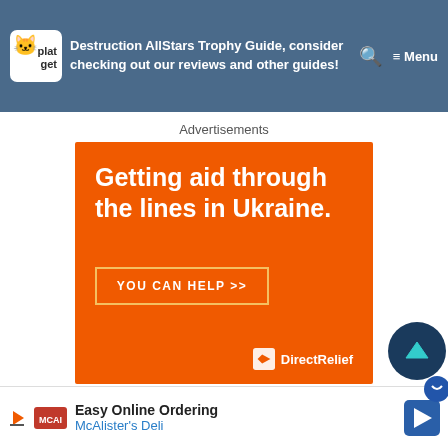Destruction AllStars Trophy Guide, consider checking out our reviews and other guides!
Advertisements
[Figure (infographic): Orange Direct Relief advertisement banner: 'Getting aid through the lines in Ukraine.' with 'YOU CAN HELP >>' button and Direct Relief logo]
Follow us on twitter @GetPlat or Instagram @platget for more latest news reviews and guides!